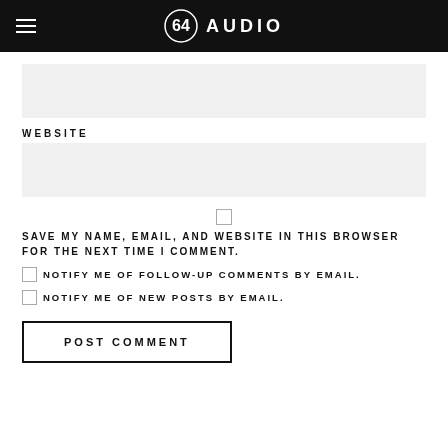64 AUDIO
[Figure (other): Input field (grey background, empty)]
WEBSITE
[Figure (other): Input field (grey background, empty)]
SAVE MY NAME, EMAIL, AND WEBSITE IN THIS BROWSER FOR THE NEXT TIME I COMMENT.
NOTIFY ME OF FOLLOW-UP COMMENTS BY EMAIL.
NOTIFY ME OF NEW POSTS BY EMAIL.
POST COMMENT